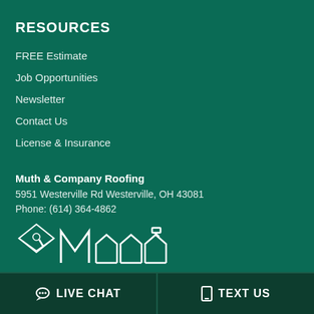RESOURCES
FREE Estimate
Job Opportunities
Newsletter
Contact Us
License & Insurance
Muth & Company Roofing
5951 Westerville Rd Westerville, OH 43081
Phone: (614) 364-4862
[Figure (logo): Muth & Company Roofing logo — white line-art of a house with roof and tools on a dark green background]
💬 LIVE CHAT
📱 TEXT US